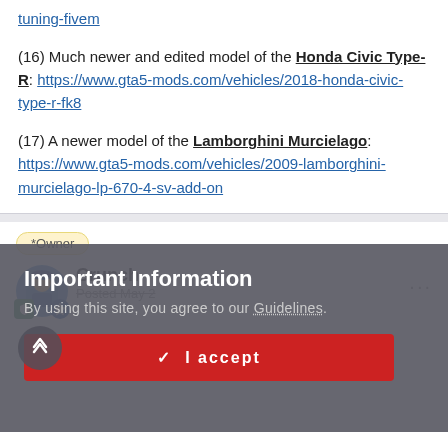tuning-fivem
(16) Much newer and edited model of the Honda Civic Type-R: https://www.gta5-mods.com/vehicles/2018-honda-civic-type-r-fk8
(17) A newer model of the Lamborghini Murcielago: https://www.gta5-mods.com/vehicles/2009-lamborghini-murcielago-lp-670-4-sv-add-on
*Owner
Crunch
Posted May 2
Important Information
By using this site, you agree to our Guidelines.
✓  I accept